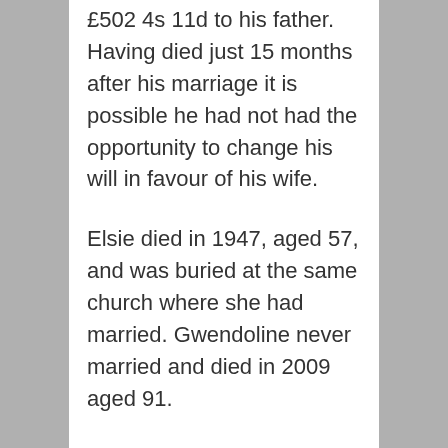£502 4s 11d to his father. Having died just 15 months after his marriage it is possible he had not had the opportunity to change his will in favour of his wife.
Elsie died in 1947, aged 57, and was buried at the same church where she had married. Gwendoline never married and died in 2009 aged 91.
Military Service